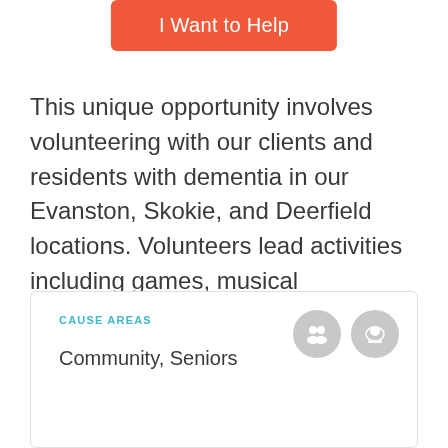[Figure (other): Orange 'I Want to Help' button]
This unique opportunity involves volunteering with our clients and residents with dementia in our Evanston, Skokie, and Deerfield locations. Volunteers lead activities including games, musical performances, art projects, trivia, and discussions. We love to hear your creative ideas, too. If you are compassionate and...
Read More
CAUSE AREAS
Community, Seniors